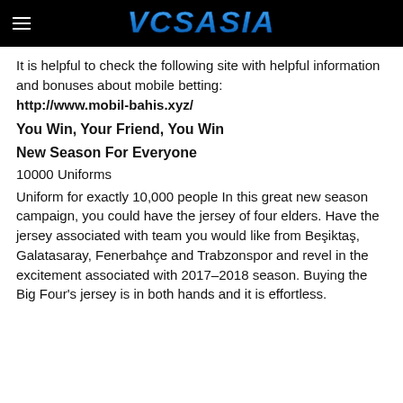VCSASIA
It is helpful to check the following site with helpful information and bonuses about mobile betting: http://www.mobil-bahis.xyz/
You Win, Your Friend, You Win
New Season For Everyone
10000 Uniforms
Uniform for exactly 10,000 people In this great new season campaign, you could have the jersey of four elders. Have the jersey associated with team you would like from Beşiktaş, Galatasaray, Fenerbahçe and Trabzonspor and revel in the excitement associated with 2017–2018 season. Buying the Big Four's jersey is in both hands and it is effortless.